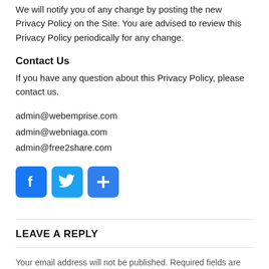We will notify you of any change by posting the new Privacy Policy on the Site. You are advised to review this Privacy Policy periodically for any change.
Contact Us
If you have any question about this Privacy Policy, please contact us.
admin@webemprise.com
admin@webniaga.com
admin@free2share.com
[Figure (infographic): Three social media share buttons: Facebook (blue f icon), Twitter (blue bird icon), and a generic share button (blue plus icon)]
LEAVE A REPLY
Your email address will not be published. Required fields are marked